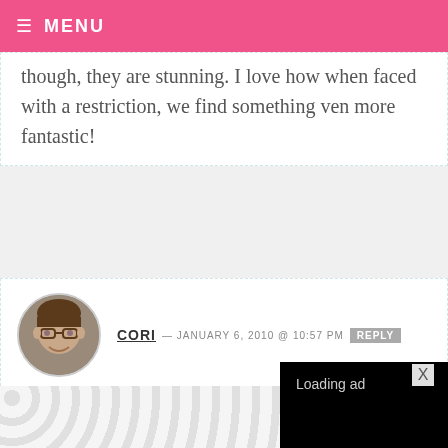MENU
though, they are stunning. I love how when faced with a restriction, we find something ven more fantastic!
CORI — JANUARY 6, 2010 @ 10:57 PM REPLY
Bakerella the stories on her sit informati http://www.babycakesnyc.com. The owner makes gluten-free sweets
[Figure (screenshot): Video ad overlay showing 'Loading ad' text with spinner and playback controls on black background]
[Figure (other): Bottom advertisement banner with repeating circular pattern]